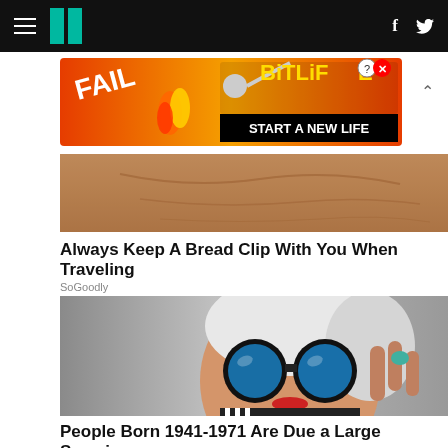HuffPost navigation bar with hamburger menu, logo, Facebook and Twitter icons
[Figure (infographic): BitLife advertisement banner: FAIL text with cartoon flames and character, BitLife logo with question mark and X, START A NEW LIFE text on black background]
[Figure (photo): Close-up photo of human palm/hand skin texture]
Always Keep A Bread Clip With You When Traveling
SoGoodly
[Figure (photo): Elderly woman with white hair wearing large round black-framed sunglasses with blue mirrored lenses, holding them up, wearing red lipstick and a turquoise ring]
People Born 1941-1971 Are Due a Large Surprise